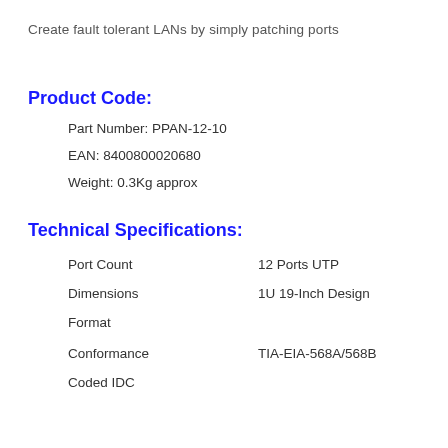Create fault tolerant LANs by simply patching ports
Product Code:
Part Number: PPAN-12-10
EAN: 8400800020680
Weight: 0.3Kg approx
Technical Specifications:
|  |  |
| --- | --- |
| Port Count | 12 Ports UTP |
| Dimensions | 1U 19-Inch Design |
| Format |  |
| Conformance | TIA-EIA-568A/568B |
| Coded IDC |  |